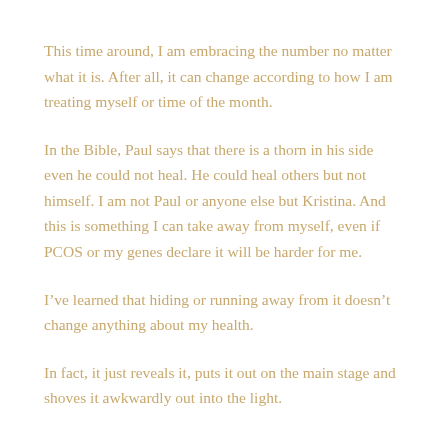This time around, I am embracing the number no matter what it is. After all, it can change according to how I am treating myself or time of the month.
In the Bible, Paul says that there is a thorn in his side even he could not heal. He could heal others but not himself. I am not Paul or anyone else but Kristina. And this is something I can take away from myself, even if PCOS or my genes declare it will be harder for me.
I’ve learned that hiding or running away from it doesn’t change anything about my health.
In fact, it just reveals it, puts it out on the main stage and shoves it awkwardly out into the light.